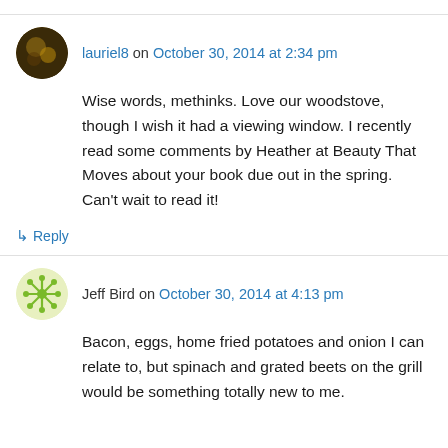lauriel8 on October 30, 2014 at 2:34 pm
Wise words, methinks. Love our woodstove, though I wish it had a viewing window. I recently read some comments by Heather at Beauty That Moves about your book due out in the spring. Can't wait to read it!
↳ Reply
Jeff Bird on October 30, 2014 at 4:13 pm
Bacon, eggs, home fried potatoes and onion I can relate to, but spinach and grated beets on the grill would be something totally new to me.